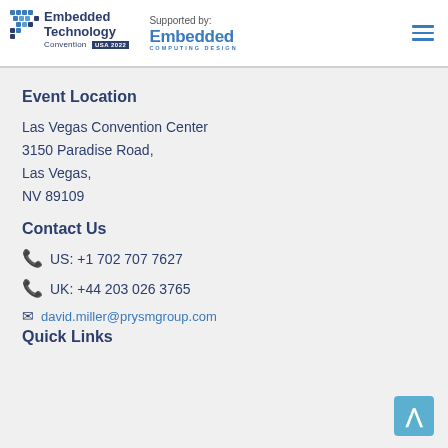Embedded Technology Convention USA 2022 | Supported by: Embedded Computing Design
Event Location
Las Vegas Convention Center
3150 Paradise Road,
Las Vegas,
NV 89109
Contact Us
US: +1 702 707 7627
UK: +44 203 026 3765
david.miller@prysmgroup.com
Quick Links